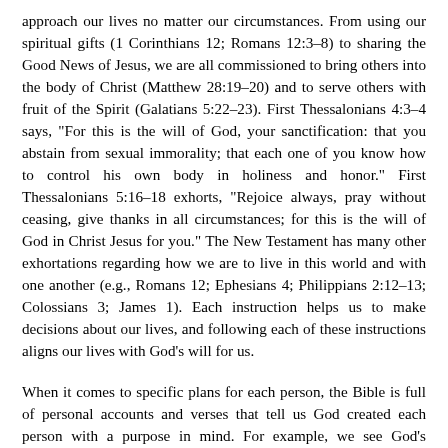approach our lives no matter our circumstances. From using our spiritual gifts (1 Corinthians 12; Romans 12:3–8) to sharing the Good News of Jesus, we are all commissioned to bring others into the body of Christ (Matthew 28:19–20) and to serve others with fruit of the Spirit (Galatians 5:22–23). First Thessalonians 4:3–4 says, "For this is the will of God, your sanctification: that you abstain from sexual immorality; that each one of you know how to control his own body in holiness and honor." First Thessalonians 5:16–18 exhorts, "Rejoice always, pray without ceasing, give thanks in all circumstances; for this is the will of God in Christ Jesus for you." The New Testament has many other exhortations regarding how we are to live in this world and with one another (e.g., Romans 12; Ephesians 4; Philippians 2:12–13; Colossians 3; James 1). Each instruction helps us to make decisions about our lives, and following each of these instructions aligns our lives with God's will for us.
When it comes to specific plans for each person, the Bible is full of personal accounts and verses that tell us God created each person with a purpose in mind. For example, we see God's preparation of Moses to be the one to lead His people out of Egyptian slavery (Exodus 1–4). To Jeremiah, God said, "Before I formed you in the womb I knew you, and before you were born I consecrated you; I appointed you a prophet to the nations" (Jeremiah 1:5). David said to God in Psalm 139, "Your eyes saw my unformed substance; in